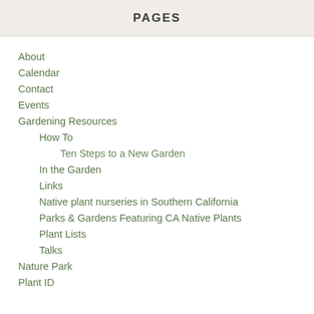PAGES
About
Calendar
Contact
Events
Gardening Resources
How To
Ten Steps to a New Garden
In the Garden
Links
Native plant nurseries in Southern California
Parks & Gardens Featuring CA Native Plants
Plant Lists
Talks
Nature Park
Plant ID